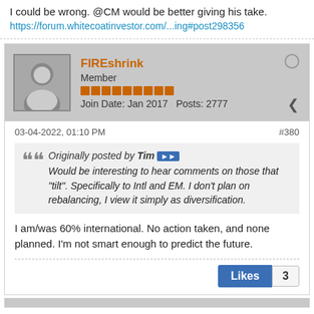I could be wrong. @CM would be better giving his take.
https://forum.whitecoatinvestor.com/...ing#post298356
FIREshrink
Member
Join Date: Jan 2017   Posts: 2777
03-04-2022, 01:10 PM
#380
Originally posted by Tim
Would be interesting to hear comments on those that "tilt". Specifically to Intl and EM. I don't plan on rebalancing, I view it simply as diversification.
I am/was 60% international. No action taken, and none planned. I'm not smart enough to predict the future.
Likes 3